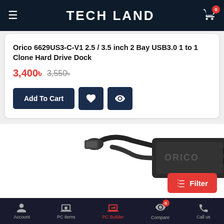TECH LAND
Orico 6629US3-C-V1 2.5 / 3.5 inch 2 Bay USB3.0 1 to 1 Clone Hard Drive Dock
3,400৳  3,550৳
[Figure (screenshot): Add To Cart button with wishlist and compare icon buttons]
[Figure (photo): Product photo of Orico USB 3.0 Hard Drive Dock with USB cable visible]
Account  PC items  PC Builder  Compare 0  Call us